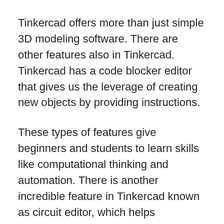Tinkercad offers more than just simple 3D modeling software. There are other features also in Tinkercad. Tinkercad has a code blocker editor that gives us the leverage of creating new objects by providing instructions.
These types of features give beginners and students to learn skills like computational thinking and automation. There is another incredible feature in Tinkercad known as circuit editor, which helps beginners understand electronic circuitry in a better way. Not only that, but tinkercad is also used for laser cutting.
If you are new in 3D modeling and looking for